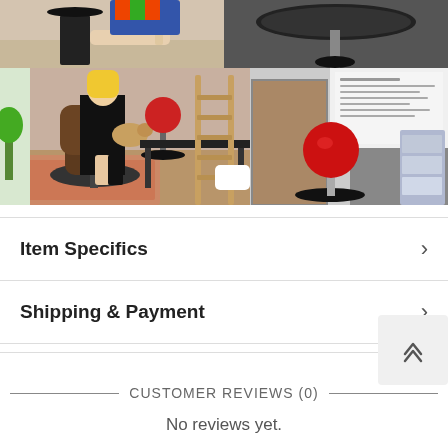[Figure (photo): Product photo collage: top-left shows a person writing/drawing at a desk with what appears to be a desktop punching ball; top-right shows a desktop punching ball on a stand from above; bottom-left shows a woman sitting in an office chair with a dog, and a red punching ball on a stand on a desk; a wooden ladder leans in background; bottom-right shows a red punching ball on stand in a room near a whiteboard.]
Item Specifics
Shipping & Payment
CUSTOMER REVIEWS (0)
No reviews yet.